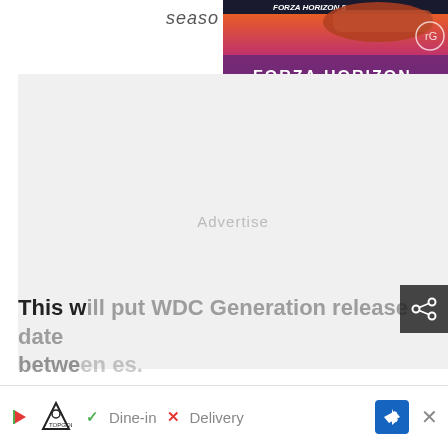seaso…
[Figure (screenshot): Forza Horizon History advertisement banner with car image and purple/gradient background]
[Figure (screenshot): Advertisement placeholder block (grey, labeled Advertise…)]
This will put WDC Generation release date between … es.
[Figure (screenshot): Topgolf advertisement bottom bar with Dine-in and Delivery options, navigation arrow, and close button]